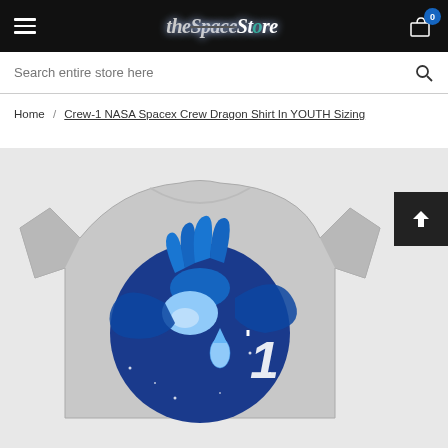The Space Store — navigation bar with hamburger menu, logo, and cart (0 items)
Search entire store here
Home / Crew-1 NASA Spacex Crew Dragon Shirt In YOUTH Sizing
[Figure (photo): Gray youth t-shirt laid flat on white surface, featuring a large circular blue graphic of a stylized dragon (Crew Dragon) in space with stars and a rocket, with the number 1 prominently displayed. The shirt is the Crew-1 NASA SpaceX Crew Dragon design.]